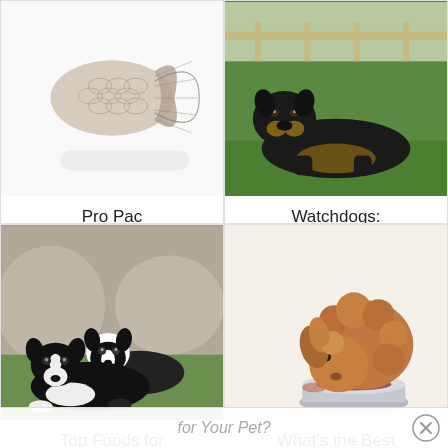[Figure (photo): Close-up of fish tail / scales on white background]
Pro Pac
[Figure (photo): Rottweiler dog lying on green grass outdoors]
Watchdogs: Health & Food
[Figure (photo): Two border collie dogs lying on grass]
Top Foods for Border Collies
[Figure (photo): Small fluffy dog eating from a metal bowl]
What's the Best Raw Dog Food
for Your Pet?